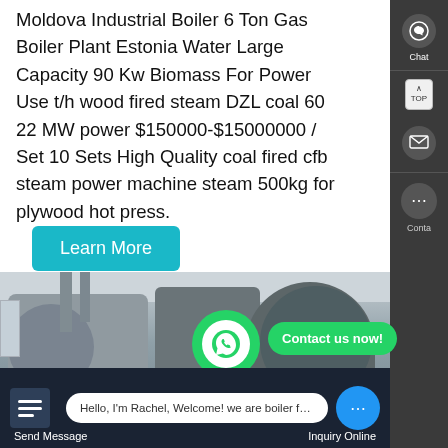Moldova Industrial Boiler 6 Ton Gas Boiler Plant Estonia Water Large Capacity 90 Kw Biomass For Power Use t/h wood fired steam DZL coal 60 22 MW power $150000-$15000000 / Set 10 Sets High Quality coal fired cfb steam power machine steam 500kg for plywood hot press.
Learn More
[Figure (photo): Industrial boiler factory interior showing large cylindrical boilers/pressure vessels in a warehouse setting]
Contact us now!
Hello, I'm Rachel, Welcome! we are boiler factory!
Send Message   Inquiry Online